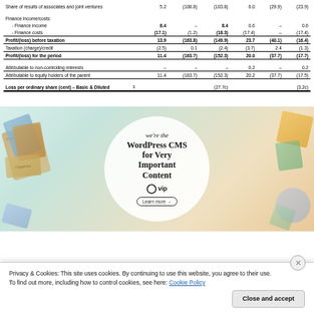|  | Note | Underlying | Separately Disclosed Items | Total | Underlying | Separately Disclosed Items | Total |
| --- | --- | --- | --- | --- | --- | --- | --- |
| Share of results of associates and joint ventures |  | 5.2 | (108.8) | (103.8) | 6.0 | (29.9) | (23.9) |
| Finance income/costs: |  |  |  |  |  |  |  |
| - Finance income |  | 8.4 | – | 8.4 | 0.6 | – | 0.6 |
| - Finance costs |  | (17.1) | (1.2) | (18.3) | (17.4) | – | (17.4) |
| Profit/(loss) before taxation |  | 13.9 | (163.8) | (149.9) | 23.7 | (40.1) | (16.4) |
| Taxation (charge)/credit |  | (2.5) | 0.1 | (2.4) | (3.7) | 2.4 | (1.3) |
| Profit/(loss) for the period |  | 11.4 | (163.7) | (152.3) | 20.0 | (37.7) | (17.7) |
| Attributable to non-controlling interests |  | – | – | – | 0.2 | – | 0.2 |
| Attributable to equity holders of the parent |  | 11.4 | (163.7) | (152.3) | 20.2 | (37.7) | (17.5) |
| Loss per ordinary share (cent) – Basic & Diluted | 3 |  |  | (27.7c) |  |  | (3.2c) |
[Figure (illustration): WordPress VIP advertisement banner showing colorful cards/logos in background with white circle containing text 'we're the WordPress CMS for Very Important Content' with WordPress logo and 'Learn more' button]
Privacy & Cookies: This site uses cookies. By continuing to use this website, you agree to their use.
To find out more, including how to control cookies, see here: Cookie Policy
Close and accept